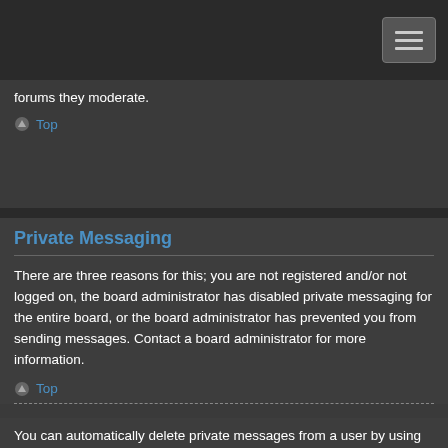forums they moderate.
Top
Private Messaging
There are three reasons for this; you are not registered and/or not logged on, the board administrator has disabled private messaging for the entire board, or the board administrator has prevented you from sending messages. Contact a board administrator for more information.
Top
You can automatically delete private messages from a user by using message rules within your User Control Panel. If you are